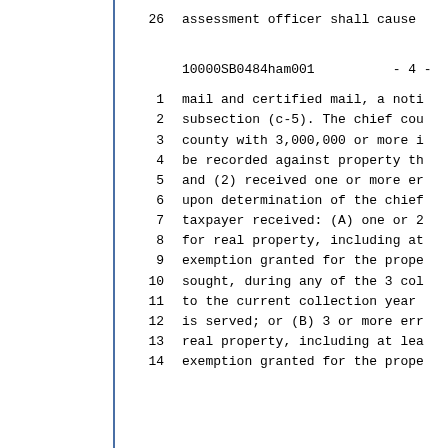26    assessment officer shall cause
10000SB0484ham001          - 4 -
1    mail and certified mail, a noti
2    subsection (c-5). The chief cou
3    county with 3,000,000 or more i
4    be recorded against property th
5    and (2) received one or more er
6    upon determination of the chief
7    taxpayer received: (A) one or 2
8    for real property, including at
9    exemption granted for the prope
10   sought, during any of the 3 col
11   to the current collection year
12   is served; or (B) 3 or more err
13   real property, including at lea
14   exemption granted for the prope